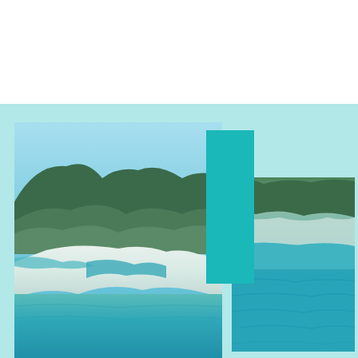luxfeel
rental properties
[Figure (photo): Aerial view of Whitsunday Islands beach with white sand, turquoise water channels, and green forested hills in background]
[Figure (photo): Aerial view of tropical coastline with turquoise water, white sandy beach channels and dense green vegetation]